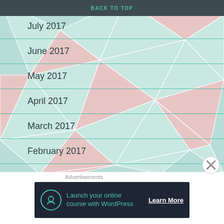BACK TO TOP
July 2017
June 2017
May 2017
April 2017
March 2017
February 2017
January 2017
Advertisements
[Figure (infographic): Advertisement banner: Launch your online course with WordPress — Learn More]